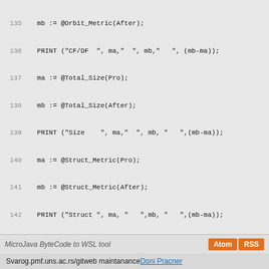Source code listing lines 135-161 of MicroJava ByteCode to WSL tool
MicroJava ByteCode to WSL tool  Atom  RSS
Svarog.pmf.uns.ac.rs/gitweb maintanance Doni Pracner